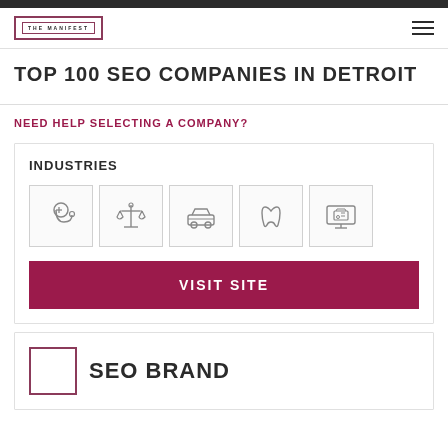THE MANIFEST
TOP 100 SEO COMPANIES IN DETROIT
NEED HELP SELECTING A COMPANY?
INDUSTRIES
[Figure (illustration): Five industry icons in bordered boxes: stethoscope (medical), scales of justice (legal), car (automotive), tooth (dental), monitor with shopping cart (e-commerce)]
VISIT SITE
SEO BRAND